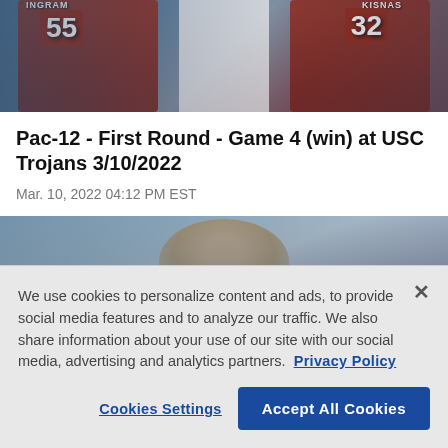[Figure (photo): Basketball game photo showing players in dark red USC Trojans jerseys numbered 55 (INGRAM) and 32 (KISNAS) with a player in white uniform between them]
Pac-12 - First Round - Game 4 (win) at USC Trojans 3/10/2022
Mar. 10, 2022 04:12 PM EST
[Figure (photo): Basketball game photo showing a coach or person from behind/above with crowd in background]
We use cookies to personalize content and ads, to provide social media features and to analyze our traffic. We also share information about your use of our site with our social media, advertising and analytics partners. Privacy Policy
Cookies Settings
Accept All Cookies